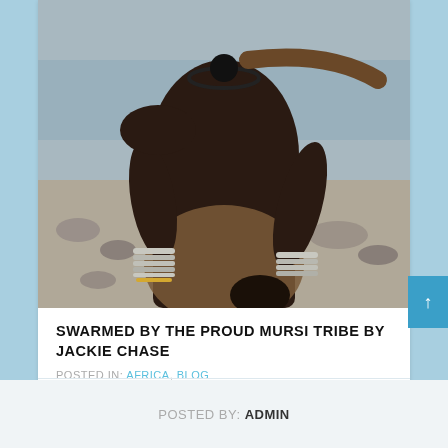[Figure (photo): A woman from the Mursi tribe standing near a rocky riverbank, wearing metal bangles/bracelets and holding a dark object, photographed from the torso up.]
SWARMED BY THE PROUD MURSI TRIBE BY JACKIE CHASE
POSTED IN: AFRICA, BLOG
POSTED BY: ADMIN